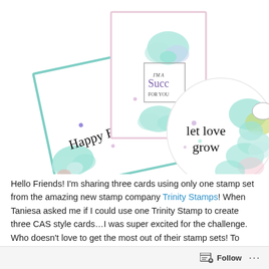[Figure (photo): Three handmade greeting cards with succulent plant illustrations. Left card: tilted square card with teal border, succulent flowers in corners, text 'Happy Birthday' in script. Center card: upright rectangular card with pink border, succulent illustration at top, text 'I'm a Succ For You' in purple script. Right: circular tag/card with colorful succulent illustration and text 'let love grow' in script.]
Hello Friends! I'm sharing three cards using only one stamp set from the amazing new stamp company Trinity Stamps! When Taniesa asked me if I could use one Trinity Stamp to create three CAS style cards…I was super excited for the challenge. Who doesn't love to get the most out of their stamp sets! To create the
Follow ···